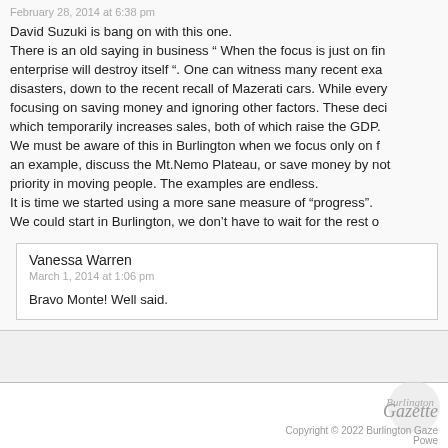February 28, 2014 at 6:38 pm
David Suzuki is bang on with this one.
There is an old saying in business “ When the focus is just on fin enterprise will destroy itself “. One can witness many recent exa disasters, down to the recent recall of Mazerati cars. While every focusing on saving money and ignoring other factors. These deci which temporarily increases sales, both of which raise the GDP.
We must be aware of this in Burlington when we focus only on f an example, discuss the Mt.Nemo Plateau, or save money by not priority in moving people. The examples are endless.
It is time we started using a more sane measure of “progress”.
We could start in Burlington, we don’t have to wait for the rest o
Vanessa Warren
March 1, 2014 at 1:06 pm
Bravo Monte! Well said.
Copyright © 2022 Burlington Gaze